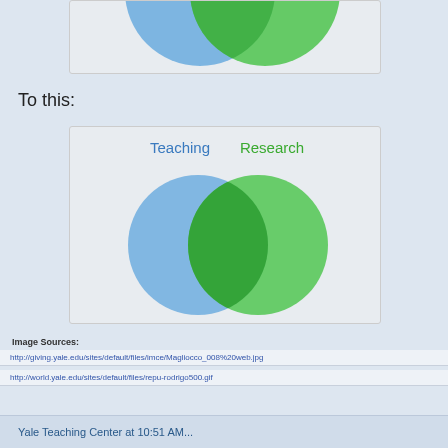[Figure (illustration): Top portion of a Venn diagram showing a blue circle and green circle partially overlapping, cropped at top of page]
To this:
[Figure (infographic): Venn diagram showing two overlapping circles labeled 'Teaching' (blue) and 'Research' (green) with significant overlap, on a light grey background]
Image Sources:
http://giving.yale.edu/sites/default/files/imce/Magliocco_008%20web.jpg
http://world.yale.edu/sites/default/files/repu-rodrigo500.gif
Yale Teaching Center at 10:51 AM...